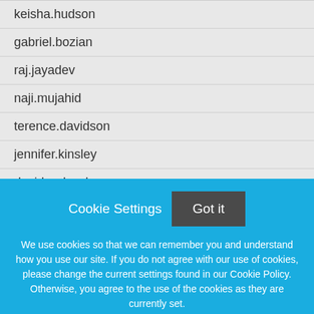keisha.hudson
gabriel.bozian
raj.jayadev
naji.mujahid
terence.davidson
jennifer.kinsley
david.rudovsky
Cookie Settings
Got it
We use cookies so that we can remember you and understand how you use our site. If you do not agree with our use of cookies, please change the current settings found in our Cookie Policy. Otherwise, you agree to the use of the cookies as they are currently set.